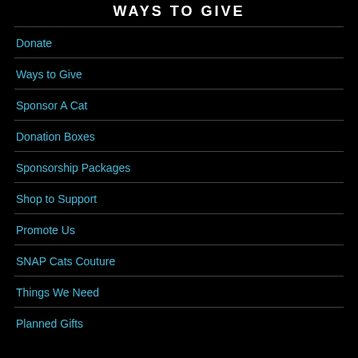WAYS TO GIVE
Donate
Ways to Give
Sponsor A Cat
Donation Boxes
Sponsorship Packages
Shop to Support
Promote Us
SNAP Cats Couture
Things We Need
Planned Gifts